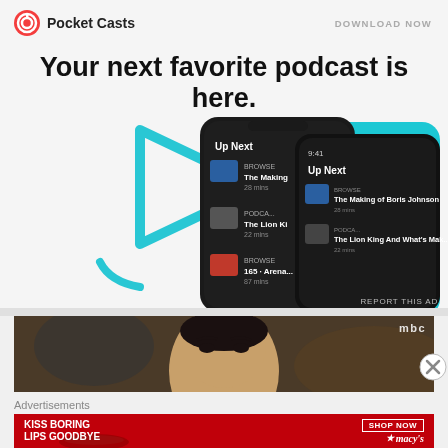[Figure (logo): Pocket Casts logo with red circular icon and text]
DOWNLOAD NOW
Your next favorite podcast is here.
[Figure (screenshot): Two smartphones showing Pocket Casts app 'Up Next' queue with podcast episodes including 'The Making of Boris Johnson' and 'The Lion King And What's Mak...' against cyan play button decorative background]
REPORT THIS AD
[Figure (photo): Video thumbnail showing close-up of a man's face with MBC watermark in top right corner]
Advertisements
[Figure (infographic): Macy's banner ad with red background, text 'KISS BORING LIPS GOODBYE', 'SHOP NOW' button, and Macy's star logo]